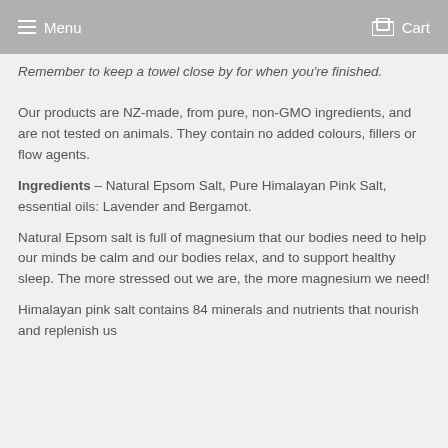Menu   Cart
Remember to keep a towel close by for when you're finished.
Our products are NZ-made, from pure, non-GMO ingredients, and are not tested on animals. They contain no added colours, fillers or flow agents.
Ingredients – Natural Epsom Salt, Pure Himalayan Pink Salt, essential oils: Lavender and Bergamot.
Natural Epsom salt is full of magnesium that our bodies need to help our minds be calm and our bodies relax, and to support healthy sleep. The more stressed out we are, the more magnesium we need!
Himalayan pink salt contains 84 minerals and nutrients that nourish and replenish us